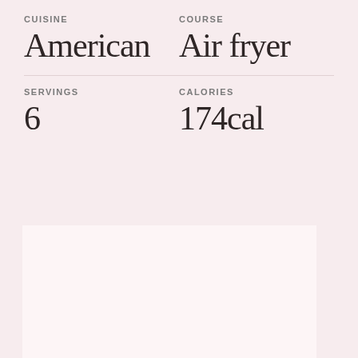CUISINE
American
COURSE
Air fryer
SERVINGS
6
CALORIES
174cal
[Figure (photo): Large white/light pink rectangular image placeholder area below the recipe metadata]